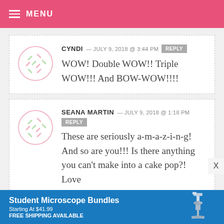MENU
CYNDI — JULY 9, 2018 @ 3:44 PM  REPLY
WOW! Double WOW!! Triple WOW!!! And BOW-WOW!!!!
SEANA MARTIN — JULY 9, 2018 @ 1:18 PM  REPLY
These are seriously a-m-a-z-i-n-g! And so are you!!! Is there anything you can't make into a cake pop?! Love
[Figure (advertisement): Student Microscope Bundles banner ad with microscope image. Text: Student Microscope Bundles, Starting At $41.99, FREE SHIPPING AVAILABLE]